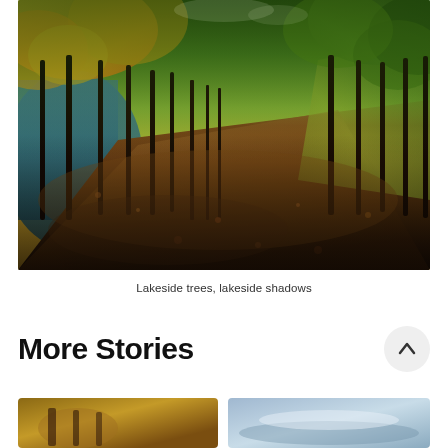[Figure (photo): Autumn lakeside path with tall trees lining a wide dirt trail covered in fallen leaves. A lake is visible on the left side. The canopy shows yellow, orange, and green foliage in fall colors.]
Lakeside trees, lakeside shadows
More Stories
[Figure (photo): Thumbnail image on the left showing a warm brownish outdoor scene]
[Figure (photo): Thumbnail image on the right showing a light blue/grey outdoor scene]